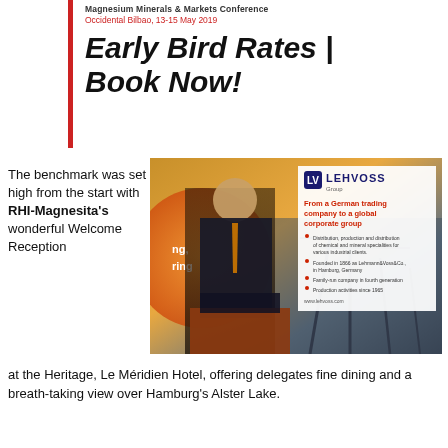Magnesium Minerals & Markets Conference
Occidental Bilbao, 13-15 May 2019
Early Bird Rates | Book Now!
The benchmark was set high from the start with RHI-Magnesita's wonderful Welcome Reception at the Heritage, Le Méridien Hotel, offering delegates fine dining and a breath-taking view over Hamburg's Alster Lake.
[Figure (photo): A man in a suit standing at a podium presenting at a conference, with a Lehvoss Group corporate banner visible in the background showing 'From a German trading company to a global corporate group']
Home to speciality magnesia supplier Lehmann&Voss&Co. and